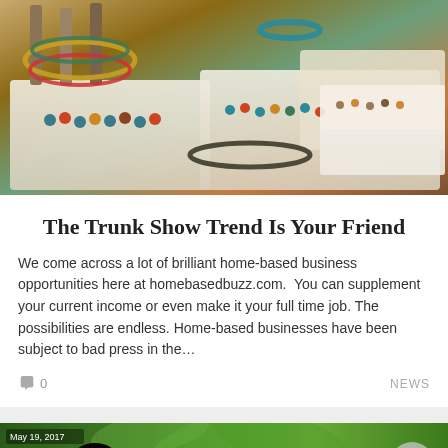[Figure (photo): Display of colorful beaded jewelry necklaces on white trays at a trunk show or craft fair]
The Trunk Show Trend Is Your Friend
We come across a lot of brilliant home-based business opportunities here at homebasedbuzz.com.  You can supplement your current income or even make it your full time job. The possibilities are endless. Home-based businesses have been subject to bad press in the…
0  NEWS
[Figure (photo): Three women smiling at an outdoor event, dated May 19, 2017]